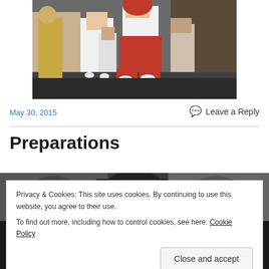[Figure (photo): People in traditional/festive clothing — a boy in white suit and a person in red traditional costume dancing or walking in a street scene]
May 30, 2015
💬 Leave a Reply
Preparations
[Figure (photo): Bottom portion of a black and white photo, partially obscured by cookie banner]
Privacy & Cookies: This site uses cookies. By continuing to use this website, you agree to their use.
To find out more, including how to control cookies, see here: Cookie Policy
Close and accept